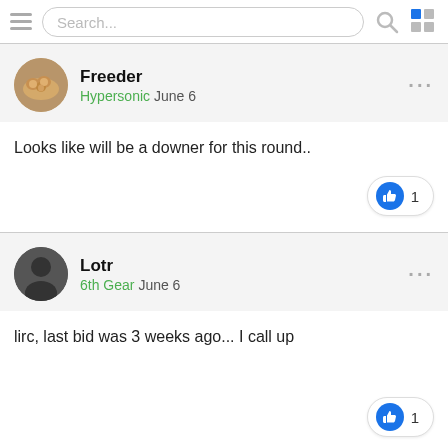Search...
Freeder
Hypersonic June 6

Looks like will be a downer for this round..
Lotr
6th Gear June 6

lirc, last bid was 3 weeks ago... I call up